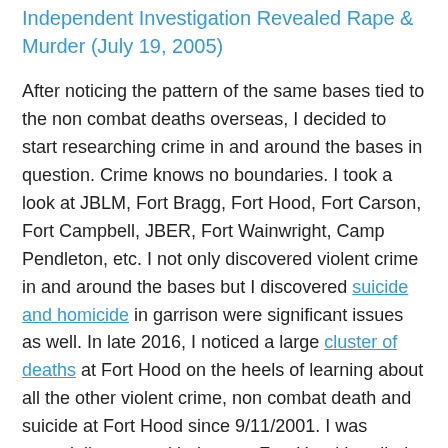Independent Investigation Revealed Rape & Murder (July 19, 2005)
After noticing the pattern of the same bases tied to the non combat deaths overseas, I decided to start researching crime in and around the bases in question. Crime knows no boundaries. I took a look at JBLM, Fort Bragg, Fort Hood, Fort Carson, Fort Campbell, JBER, Fort Wainwright, Camp Pendleton, etc. I not only discovered violent crime in and around the bases but I discovered suicide and homicide in garrison were significant issues as well. In late 2016, I noticed a large cluster of deaths at Fort Hood on the heels of learning about all the other violent crime, non combat death and suicide at Fort Hood since 9/11/2001. I was especially upset with the way Fort Hood handled the missing person case of Dakota Stump and how they treated his family. As a result of me taking an interest in